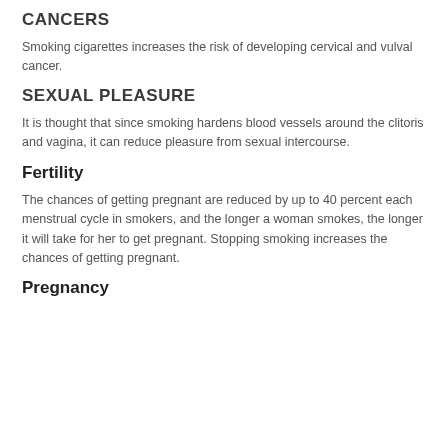CANCERS
Smoking cigarettes increases the risk of developing cervical and vulval cancer.
SEXUAL PLEASURE
It is thought that since smoking hardens blood vessels around the clitoris and vagina, it can reduce pleasure from sexual intercourse.
Fertility
The chances of getting pregnant are reduced by up to 40 percent each menstrual cycle in smokers, and the longer a woman smokes, the longer it will take for her to get pregnant. Stopping smoking increases the chances of getting pregnant.
Pregnancy